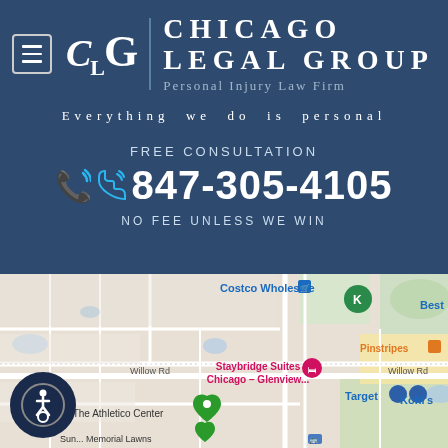[Figure (logo): Chicago Legal Group logo with CLG monogram and firm name]
Everything we do is personal
FREE CONSULTATION
847-305-4105
NO FEE UNLESS WE WIN
[Figure (map): Google Maps screenshot showing Glenview IL area with Costco Wholesale, Staybridge Suites Chicago-Glenview, The Athletico Center, Kent Fuller Air Station Prairie Preserve, Target, Kohl's, Pinstripes, Willow Rd labels]